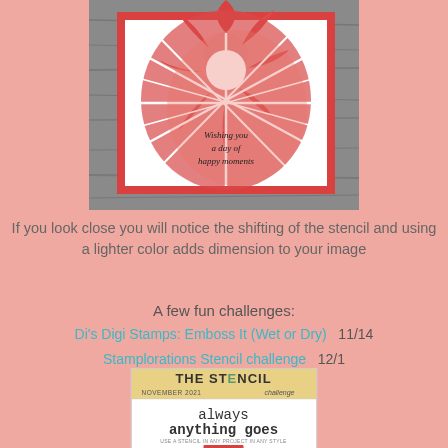[Figure (photo): Handmade greeting card with a red/coral floral stencil design on a gray wood background. The card features large flower petals in red-coral with white stencil lines, and text reading 'Wishing you a day of happy moments' in script.]
If you look close you will notice the shifting of the stencil and using a lighter color adds dimension to your image
A few fun challenges:
Di's Digi Stamps: Emboss It (Wet or Dry)    11/14
Stamplorations Stencil challenge    12/1
[Figure (other): The Stencil Challenge badge - November 2021, always anything goes, use a stencil in any project in any style]